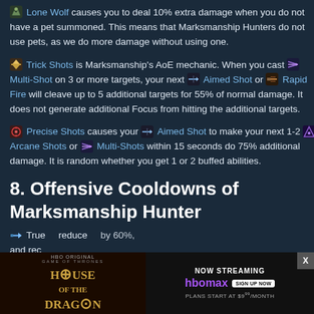Lone Wolf causes you to deal 10% extra damage when you do not have a pet summoned. This means that Marksmanship Hunters do not use pets, as we do more damage without using one.
Trick Shots is Marksmanship's AoE mechanic. When you cast Multi-Shot on 3 or more targets, your next Aimed Shot or Rapid Fire will cleave up to 5 additional targets for 55% of normal damage. It does not generate additional Focus from hitting the additional targets.
Precise Shots causes your Aimed Shot to make your next 1-2 Arcane Shots or Multi-Shots within 15 seconds do 75% additional damage. It is random whether you get 1 or 2 buffed abilities.
8. Offensive Cooldowns of Marksmanship Hunter
True... reduce... by 60%, and rec...
[Figure (screenshot): HBO Max advertisement for House of the Dragon streaming show with close button]